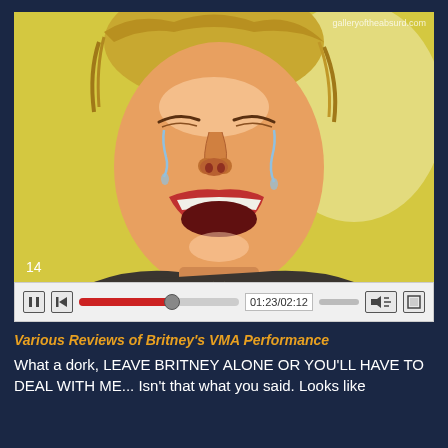[Figure (illustration): Caricature/digital illustration of a person crying with mouth open wide, tears streaming down face, yellow background, wearing a dark-collared shirt. Rendered in a painterly style. Shown inside a video player interface with playback controls at the bottom showing time 01:23/02:12. Watermark reads galleryoftheabsurd.com. Number 14 in lower left corner.]
Various Reviews of Britney's VMA Performance
What a dork, LEAVE BRITNEY ALONE OR YOU'LL HAVE TO DEAL WITH ME... Isn't that what you said. Looks like